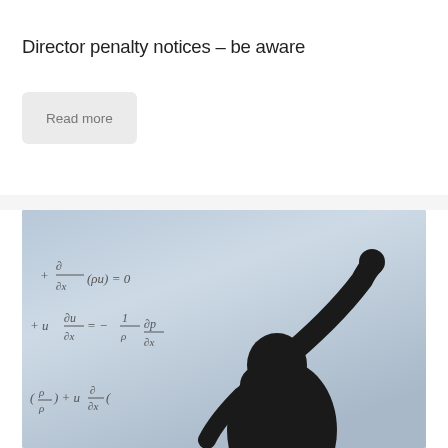Director penalty notices – be aware
Read more
[Figure (photo): Silhouette of a person writing mathematical equations on a whiteboard/glass surface. Equations visible include partial differential equations: ∂/∂x(ρu)=0, +u ∂u/∂x = -1/ρ ∂p/∂x, and (ρ/ρ) + u∂/∂x expressions.]